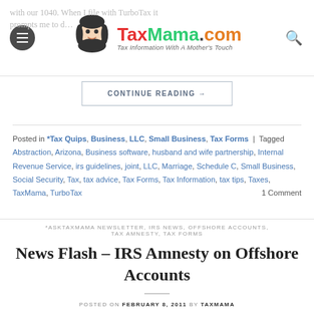TaxMama.com – Tax Information With A Mother's Touch
with our 1040. When I file with TurboTax it prompts me to d…
CONTINUE READING →
Posted in *Tax Quips, Business, LLC, Small Business, Tax Forms | Tagged Abstraction, Arizona, Business software, husband and wife partnership, Internal Revenue Service, irs guidelines, joint, LLC, Marriage, Schedule C, Small Business, Social Security, Tax, tax advice, Tax Forms, Tax Information, tax tips, Taxes, TaxMama, TurboTax   1 Comment
*ASKTAXMAMA NEWSLETTER, IRS NEWS, OFFSHORE ACCOUNTS, TAX AMNESTY, TAX FORMS
News Flash – IRS Amnesty on Offshore Accounts
POSTED ON FEBRUARY 8, 2011 BY TAXMAMA